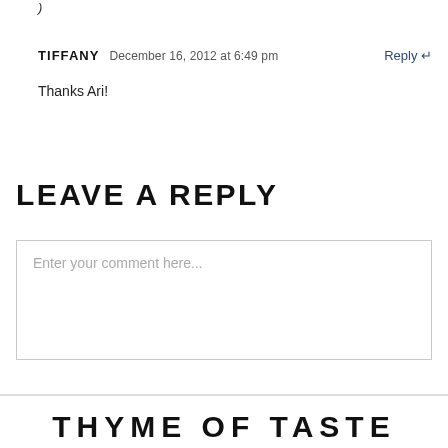)
TIFFANY   December 16, 2012 at 6:49 pm   Reply ↵
Thanks Ari!
LEAVE A REPLY
Enter your comment here...
THYME OF TASTE